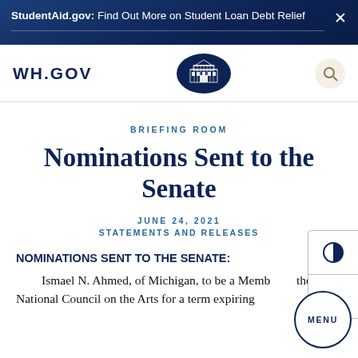StudentAid.gov: Find Out More on Student Loan Debt Relief
WH.GOV
BRIEFING ROOM
Nominations Sent to the Senate
JUNE 24, 2021
STATEMENTS AND RELEASES
NOMINATIONS SENT TO THE SENATE:
Ismael N. Ahmed, of Michigan, to be a Member of the National Council on the Arts for a term expiring